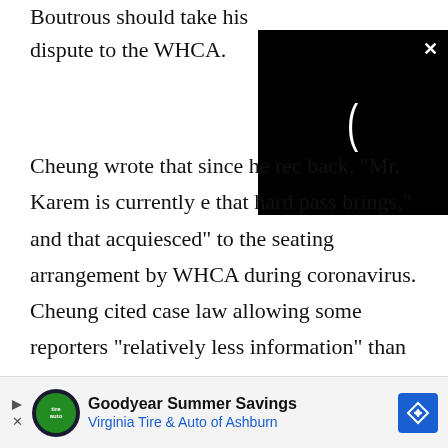Boutrous should take his dispute to the WHCA.
[Figure (screenshot): Black video player overlay with loading spinner (partial C shape) and white X close button in top right corner]
Cheung wrote that since he rec back, "Mr. Karem is currently e that hard pass brings," and that acquiesced" to the seating arrangement by WHCA during coronavirus. Cheung cited case law allowing some reporters "relatively less information" than others. Cheung also cited case law allowing a president to be interviewed by some "bona fide journalists," but not others.
[Figure (screenshot): Advertisement bar for Goodyear Summer Savings - Virginia Tire & Auto of Ashburn, with a green logo, blue navigation arrow icon, and blue diamond direction sign icon]